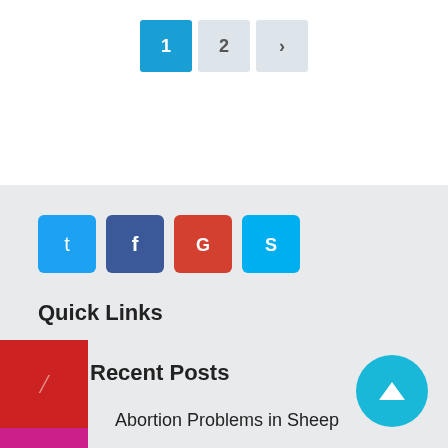[Figure (other): Pagination controls showing page 1 (active, blue), page 2, and next arrow button]
[Figure (other): Social media icon buttons: Twitter (blue), Facebook (dark blue), Google (red/orange), Skype (light blue)]
Quick Links
Recent Posts
Abortion Problems in Sheep